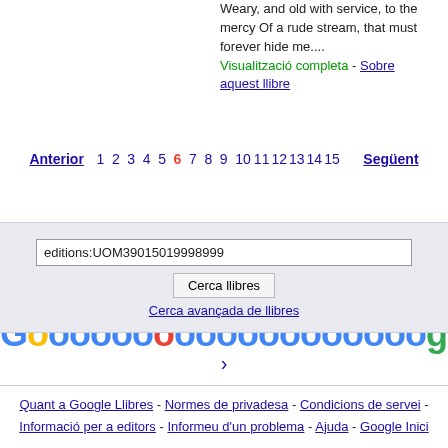Weary, and old with service, to the mercy Of a rude stream, that must forever hide me....
Visualització completa - Sobre aquest llibre
[Figure (other): Google Books pagination with Google logo and page numbers 1-15, with current page 6 highlighted in red, and Anterior/Següent navigation links]
editions:UOM39015019998999
Cerca llibres
Cerca avançada de llibres
Quant a Google Llibres - Normes de privadesa - Condicions de servei - Informació per a editors - Informeu d'un problema - Ajuda - Google Inici